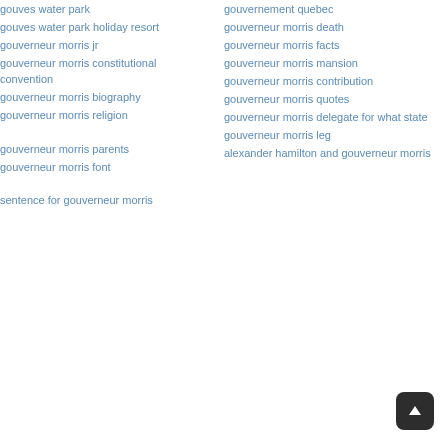gouves water park
gouves water park holiday resort
gouverneur morris jr
gouverneur morris constitutional convention
gouverneur morris biography
gouverneur morris religion
gouverneur morris parents
gouverneur morris font
sentence for gouverneur morris
gouvernement quebec
gouverneur morris death
gouverneur morris facts
gouverneur morris mansion
gouverneur morris contribution
gouverneur morris quotes
gouverneur morris delegate for what state
gouverneur morris leg
alexander hamilton and gouverneur morris